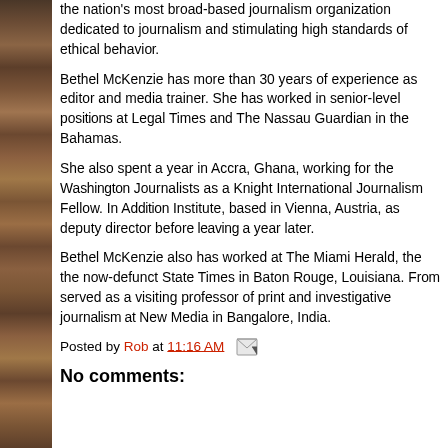the nation's most broad-based journalism organization dedicated to journalism and stimulating high standards of ethical behavior.
Bethel McKenzie has more than 30 years of experience as editor and media trainer. She has worked in senior-level positions at Legal Times and The Nassau Guardian in the Bahamas.
She also spent a year in Accra, Ghana, working for the Washington Journalists as a Knight International Journalism Fellow. In A Institute, based in Vienna, Austria, as deputy director before year later.
Bethel McKenzie also has worked at The Miami Herald, the now-defunct State Times in Baton Rouge, Louisiana. Fr served as a visiting professor of print and investigative journalism at New Media in Bangalore, India.
Posted by Rob at 11:16 AM
No comments: